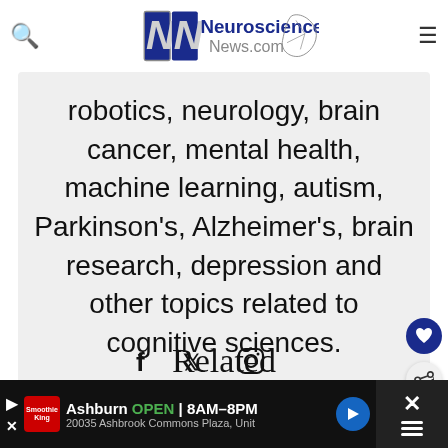Neuroscience News.com
robotics, neurology, brain cancer, mental health, machine learning, autism, Parkinson's, Alzheimer's, brain research, depression and other topics related to cognitive sciences.
[Figure (other): Social media icons: Facebook, Twitter, Instagram]
Related